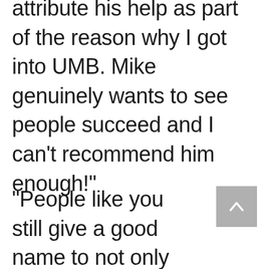attribute his help as part of the reason why I got into UMB. Mike genuinely wants to see people succeed and I can't recommend him enough!"
"People like you still give a good name to not only the profession but humanity. You're selflessness does not